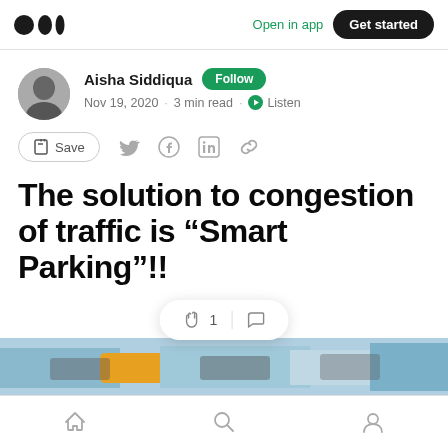Medium — Open in app | Get started
Aisha Siddiqua · Follow · Nov 19, 2020 · 3 min read · Listen
Save (social share icons)
The solution to congestion of traffic is “Smart Parking”!!
[Figure (screenshot): Photo strip of cars in traffic at bottom of article]
Home | Search | Profile (bottom navigation)